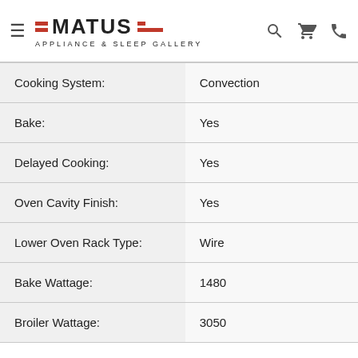[Figure (logo): Matus Appliance & Sleep Gallery logo with red bar decorations, hamburger menu, search, cart, and phone icons]
| Specification | Value |
| --- | --- |
| Cooking System: | Convection |
| Bake: | Yes |
| Delayed Cooking: | Yes |
| Oven Cavity Finish: | Yes |
| Lower Oven Rack Type: | Wire |
| Bake Wattage: | 1480 |
| Broiler Wattage: | 3050 |